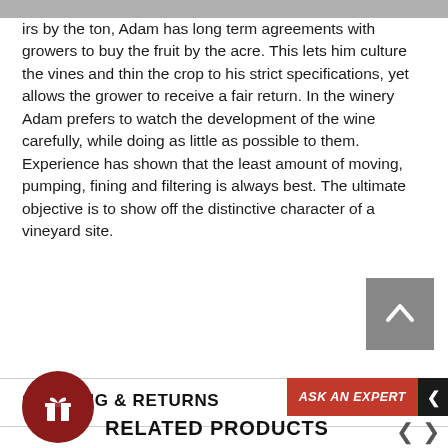irs by the ton, Adam has long term agreements with growers to buy the fruit by the acre. This lets him culture the vines and thin the crop to his strict specifications, yet allows the grower to receive a fair return. In the winery Adam prefers to watch the development of the wine carefully, while doing as little as possible to them. Experience has shown that the least amount of moving, pumping, fining and filtering is always best. The ultimate objective is to show off the distinctive character of a vineyard site.
SHIPPING & RETURNS
RELATED PRODUCTS